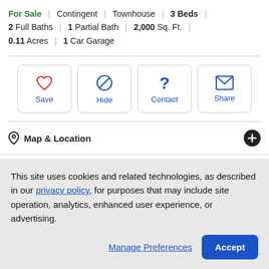For Sale | Contingent | Townhouse | 3 Beds | 2 Full Baths | 1 Partial Bath | 2,000 Sq. Ft. | 0.11 Acres | 1 Car Garage
[Figure (other): Action buttons: Save (heart icon), Hide (block icon), Contact (question mark icon), Share (envelope icon)]
Map & Location
Street View
This site uses cookies and related technologies, as described in our privacy policy, for purposes that may include site operation, analytics, enhanced user experience, or advertising.
Manage Preferences   Accept